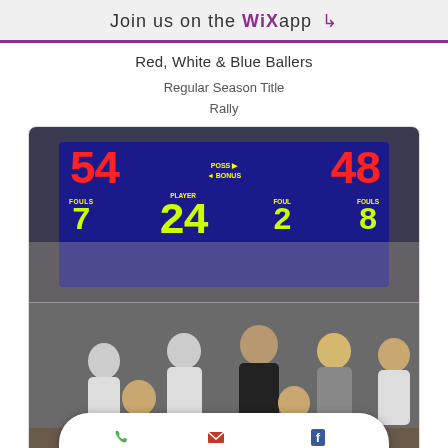Join us on the WiX app ⬇
Red, White & Blue Ballers
Regular Season Title
Rally
[Figure (photo): Basketball scoreboard showing scores 54 and 48, with POSS BONUS indicator, FOULS 7 and 8, PLAYER 24, FOUL 2]
[Figure (photo): Group photo of basketball team in white jerseys standing in a gym]
Phone   Email   Facebook